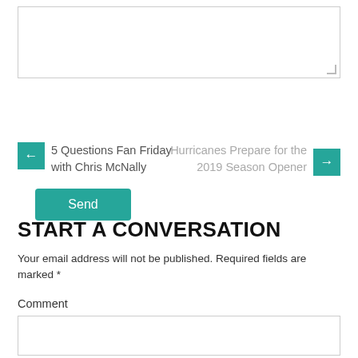[Figure (screenshot): Text area input box (empty, with resize handle at bottom-right corner)]
[Figure (screenshot): Teal 'Send' button]
← 5 Questions Fan Friday with Chris McNally
Hurricanes Prepare for the 2019 Season Opener →
START A CONVERSATION
Your email address will not be published. Required fields are marked *
Comment
[Figure (screenshot): Comment text area input box (empty)]